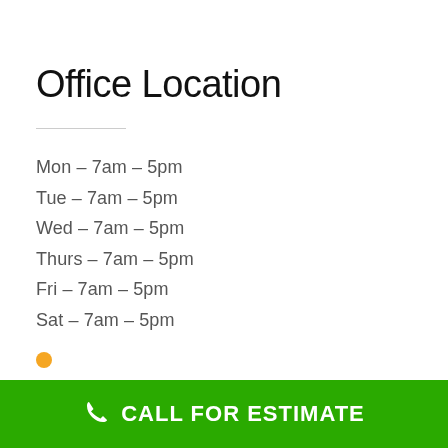Office Location
Mon – 7am – 5pm
Tue – 7am – 5pm
Wed – 7am – 5pm
Thurs – 7am – 5pm
Fri – 7am – 5pm
Sat – 7am – 5pm
CALL FOR ESTIMATE